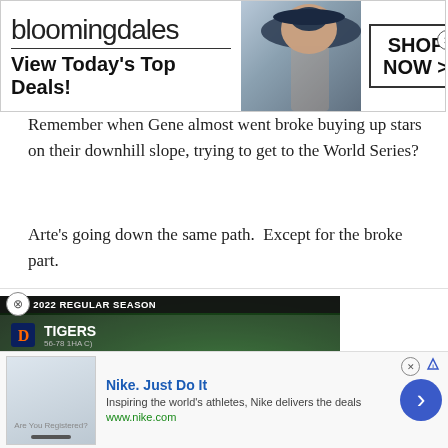[Figure (other): Bloomingdales advertisement banner with logo, tagline 'View Today's Top Deals!' and 'SHOP NOW >' button, fashion model with hat]
Remember when Gene almost went broke buying up stars on their downhill slope, trying to get to the World Series?
Arte's going down the same path.  Except for the broke part.
[Figure (screenshot): MLB 2022 Regular Season video thumbnail showing Tigers vs Angels game at Angel Stadium of Anaheim, September 05, 2022]
Posted May 9, 2013
[Figure (other): Nike advertisement: 'Nike. Just Do It' - Inspiring the world's athletes, Nike delivers the deals - www.nike.com]